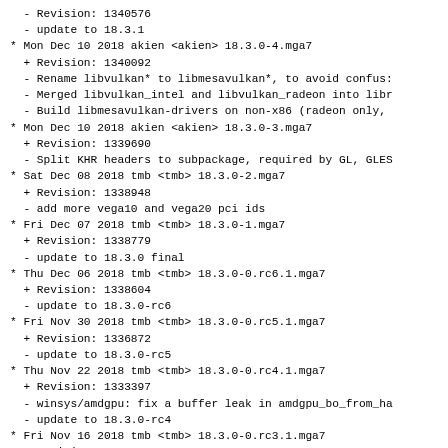- Revision: 1340576
  - update to 18.3.1
* Mon Dec 10 2018 akien <akien> 18.3.0-4.mga7
  + Revision: 1340092
  - Rename libvulkan* to libmesavulkan*, to avoid confus:
  - Merged libvulkan_intel and libvulkan_radeon into libr
  - Build libmesavulkan-drivers on non-x86 (radeon only,
* Mon Dec 10 2018 akien <akien> 18.3.0-3.mga7
  + Revision: 1339690
  - Split KHR headers to subpackage, required by GL, GLES
* Sat Dec 08 2018 tmb <tmb> 18.3.0-2.mga7
  + Revision: 1338948
  - add more vega10 and vega20 pci ids
* Fri Dec 07 2018 tmb <tmb> 18.3.0-1.mga7
  + Revision: 1338779
  - update to 18.3.0 final
* Thu Dec 06 2018 tmb <tmb> 18.3.0-0.rc6.1.mga7
  + Revision: 1338604
  - update to 18.3.0-rc6
* Fri Nov 30 2018 tmb <tmb> 18.3.0-0.rc5.1.mga7
  + Revision: 1336872
  - update to 18.3.0-rc5
* Thu Nov 22 2018 tmb <tmb> 18.3.0-0.rc4.1.mga7
  + Revision: 1333397
  - winsys/amdgpu: fix a buffer leak in amdgpu_bo_from_ha
  - update to 18.3.0-rc4
* Fri Nov 16 2018 tmb <tmb> 18.3.0-0.rc3.1.mga7
  + Revision: 1330231
  - update to 18.3.0-rc3
* Fri Nov 09 2018 tv <tv> 18.3.0-0.rc2.1.mga7
  + Revision: 1329165